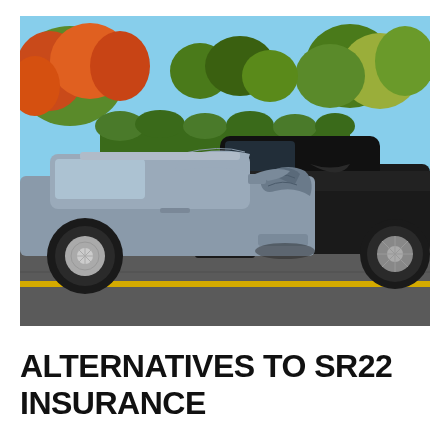[Figure (photo): Photograph of a rear-end car collision on a road. A silver/grey car has crashed into the back of a dark black car. The front of the silver car is crumpled and the rear of the black car is damaged. Trees with autumn foliage (orange, red, green) are visible in the background. The scene is on a road with a yellow center line visible.]
ALTERNATIVES TO SR22 INSURANCE